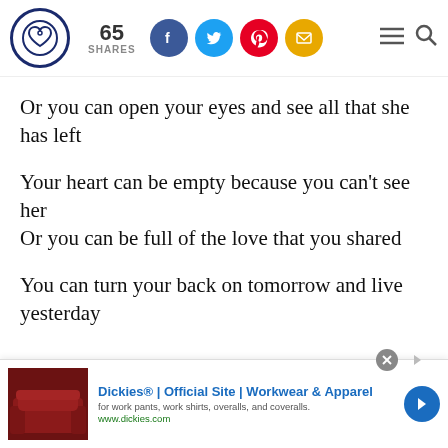65 SHARES [social share icons: Facebook, Twitter, Pinterest, Email] [hamburger menu] [search]
Or you can open your eyes and see all that she has left
Your heart can be empty because you can't see her
Or you can be full of the love that you shared
You can turn your back on tomorrow and live yesterday
[Figure (screenshot): Advertisement banner for Dickies Official Site - Workwear & Apparel. Shows leather furniture image on left, ad text in center, blue arrow button on right. URL: www.dickies.com]